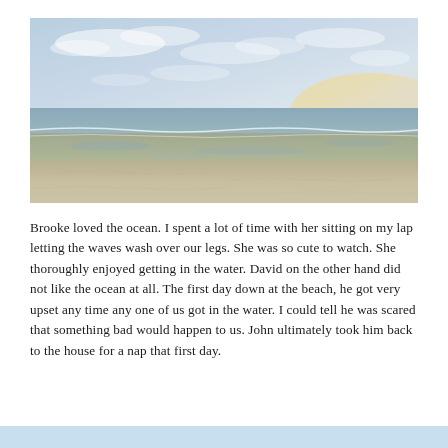[Figure (photo): A wide beach scene at dawn or dusk showing calm water, wet sand flats, gentle waves, and a sky with soft clouds and warm light on the horizon.]
Brooke loved the ocean. I spent a lot of time with her sitting on my lap letting the waves wash over our legs. She was so cute to watch. She thoroughly enjoyed getting in the water. David on the other hand did not like the ocean at all. The first day down at the beach, he got very upset any time any one of us got in the water. I could tell he was scared that something bad would happen to us. John ultimately took him back to the house for a nap that first day.